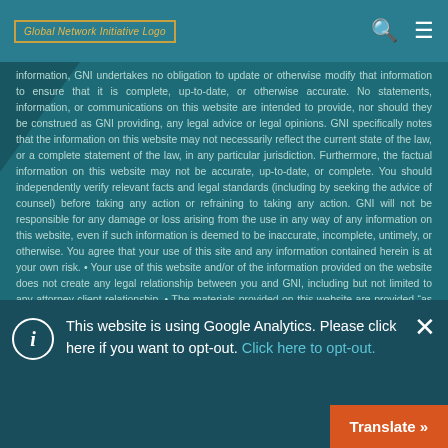Global Network Initiative Logo [search icon] [menu icon]
information, GNI undertakes no obligation to update or otherwise modify that information to ensure that it is complete, up-to-date, or otherwise accurate. No statements, information, or communications on this website are intended to provide, nor should they be construed as GNI providing, any legal advice or legal opinions. GNI specifically notes that the information on this website may not necessarily reflect the current state of the law, or a complete statement of the law, in any particular jurisdiction. Furthermore, the factual information on this website may not be accurate, up-to-date, or complete. You should independently verify relevant facts and legal standards (including by seeking the advice of counsel) before taking any action or refraining to taking any action. GNI will not be responsible for any damage or loss arising from the use in any way of any information on this website, even if such information is deemed to be inaccurate, incomplete, untimely, or otherwise. You agree that your use of this site and any information contained herein is at your own risk. • Your use of this website and/or of the information provided on the website does not create any legal relationship between you and GNI, including but not limited to any attorney-client relationship. • The materials provided on this website are provided "as is" and "as available," without warranty of any kind, express or implied. To the fullest
This website is using Google Analytics. Please click here if you want to opt-out. Click here to opt-out.
Translate »